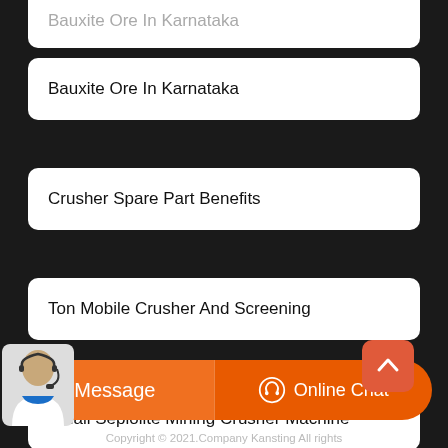Bauxite Ore In Karnataka
Crusher Spare Part Benefits
Ton Mobile Crusher And Screening
Small Sepiolite Mining Crusher Machine
Gyratory Breaker Vs Jaw Crusher
Copyright © 2021.Company Kansting All rights